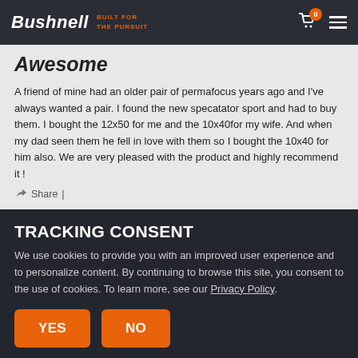Bushnell | BUILT FOR THE PURSUIT
Awesome
A friend of mine had an older pair of permafocus years ago and I've always wanted a pair. I found the new specatator sport and had to buy them. I bought the 12x50 for me and the 10x40for my wife. And when my dad seen them he fell in love with them so I bought the 10x40 for him also. We are very pleased with the product and highly recommend it !
Share |
TRACKING CONSENT
We use cookies to provide you with an improved user experience and to personalize content. By continuing to browse this site, you consent to the use of cookies. To learn more, see our Privacy Policy.
YES  NO